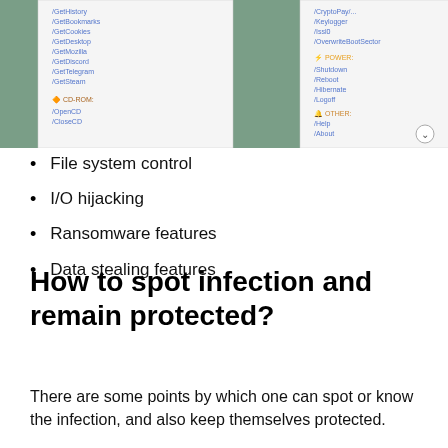[Figure (screenshot): Screenshot of a malware control panel interface showing command categories including CD-ROM, POWER (Shutdown, Reboot, Hibernate, Logoff), and OTHER (Help, About) sections on a green/teal background with white popup windows.]
File system control
I/O hijacking
Ransomware features
Data stealing features
How to spot infection and remain protected?
There are some points by which one can spot or know the infection, and also keep themselves protected.